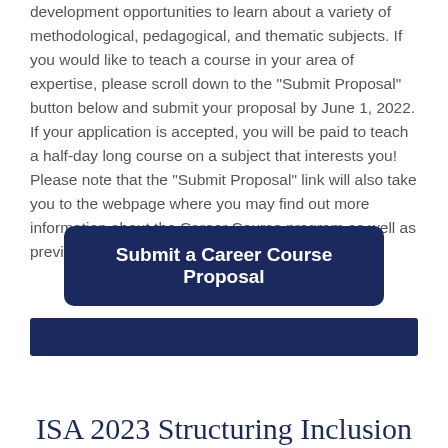development opportunities to learn about a variety of methodological, pedagogical, and thematic subjects. If you would like to teach a course in your area of expertise, please scroll down to the "Submit Proposal" button below and submit your proposal by June 1, 2022. If your application is accepted, you will be paid to teach a half-day long course on a subject that interests you! Please note that the "Submit Proposal" link will also take you to the webpage where you may find out more information about the Career Course program as well as previously taught courses.
[Figure (other): Dark navy blue button labeled 'Submit a Career Course Proposal']
[Figure (other): Dark navy blue horizontal bar divider]
ISA 2023 Structuring Inclusion